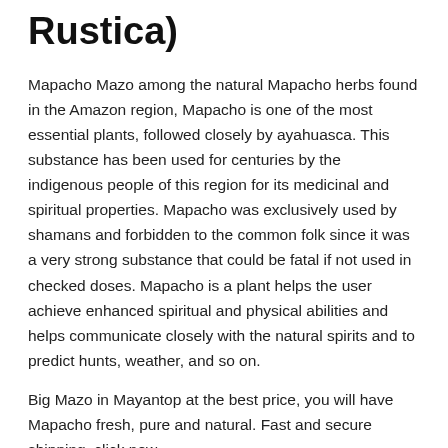Rustica)
Mapacho Mazo among the natural Mapacho herbs found in the Amazon region, Mapacho is one of the most essential plants, followed closely by ayahuasca. This substance has been used for centuries by the indigenous people of this region for its medicinal and spiritual properties. Mapacho was exclusively used by shamans and forbidden to the common folk since it was a very strong substance that could be fatal if not used in checked doses. Mapacho is a plant helps the user achieve enhanced spiritual and physical abilities and helps communicate closely with the natural spirits and to predict hunts, weather, and so on.
Big Mazo in Mayantop at the best price, you will have Mapacho fresh, pure and natural. Fast and secure shipping, click now
Note:
Mayantop products are obtained and marketed in a pure state